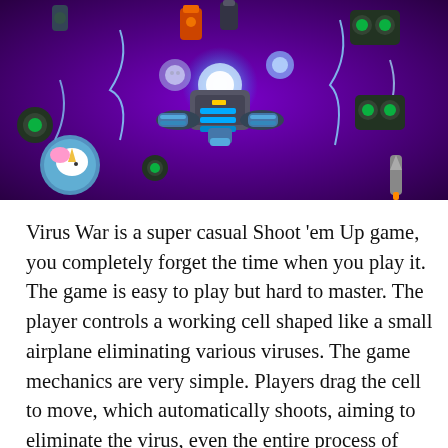[Figure (screenshot): Screenshot of Virus War game showing a space shooter scene with a purple background, a spacecraft shaped like an airplane surrounded by blue energy, various weapon power-ups, green turrets, a unicorn icon, and electric lightning effects.]
Virus War is a super casual Shoot 'em Up game, you completely forget the time when you play it. The game is easy to play but hard to master. The player controls a working cell shaped like a small airplane eliminating various viruses. The game mechanics are very simple. Players drag the cell to move, which automatically shoots, aiming to eliminate the virus, even the entire process of passing through the level